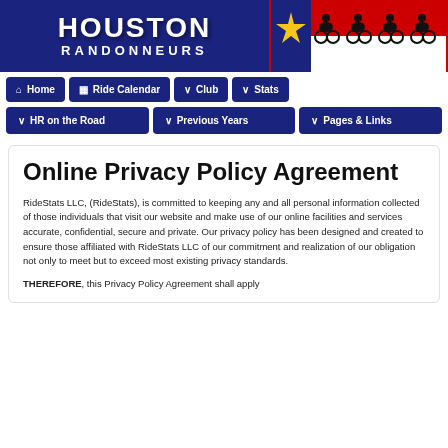[Figure (logo): Houston Randonneurs header banner with blue background showing 'HOUSTON RANDONNEURS' text and Texas flag colors with cyclists silhouettes on the right]
Home | Ride Calendar | Club | Stats | HR on the Road | Previous Years | Pages & Links
Online Privacy Policy Agreement
RideStats LLC, (RideStats), is committed to keeping any and all personal information collected of those individuals that visit our website and make use of our online facilities and services accurate, confidential, secure and private. Our privacy policy has been designed and created to ensure those affiliated with RideStats LLC of our commitment and realization of our obligation not only to meet but to exceed most existing privacy standards.
THEREFORE, this Privacy Policy Agreement shall apply